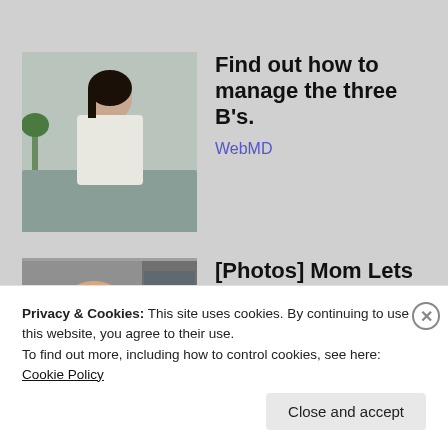[Figure (photo): Woman sitting at table with green smoothie, looking to the side]
Find out how to manage the three B's.
WebMD
[Figure (photo): Young girl with long blonde hair looking at camera]
[Photos] Mom Lets 14 Year Old Babysit, 2 Hours Later Gets Text That Says "I'm Baby"
12Up
Privacy & Cookies: This site uses cookies. By continuing to use this website, you agree to their use.
To find out more, including how to control cookies, see here: Cookie Policy
Close and accept